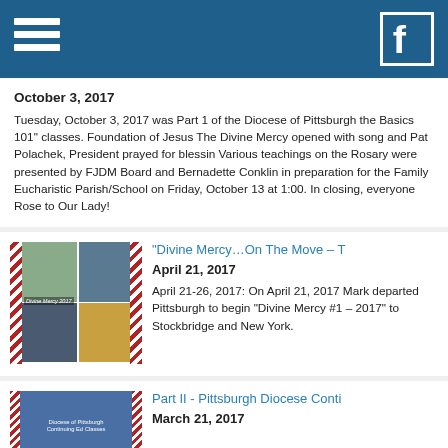Navigation bar with hamburger menu and Facebook icon
October 3, 2017
Tuesday, October 3, 2017 was Part 1 of the Diocese of Pittsburgh the Basics 101" classes. Foundation of Jesus The Divine Mercy opened with song and Pat Polachek, President prayed for blessings. Various teachings on the Rosary were presented by FJDM Board and Bernadette Conklin in preparation for the Family Eucharistic Parish/School on Friday, October 13 at 1:00. In closing, everyone Rose to Our Lady!
[Figure (photo): Photo collage of group photos from Divine Mercy 2017 event]
“Divine Mercy…On The Move – T
April 21, 2017
April 21-26, 2017: On April 21, 2017 Mark departed Pittsburgh to begin “Divine Mercy #1 – 2017” to Stockbridge and New York.
[Figure (photo): Blue background image with Diocese of Pittsburgh Continuing Ed Classes text]
Part II - Pittsburgh Diocese Conti
March 21, 2017